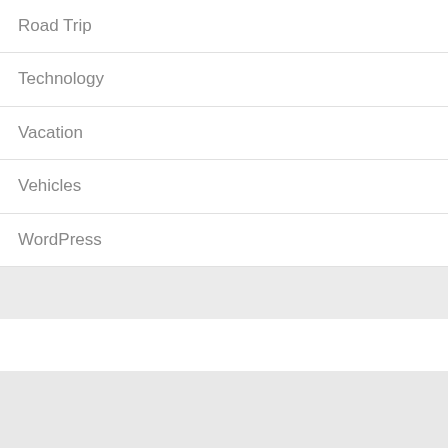Road Trip
Technology
Vacation
Vehicles
WordPress